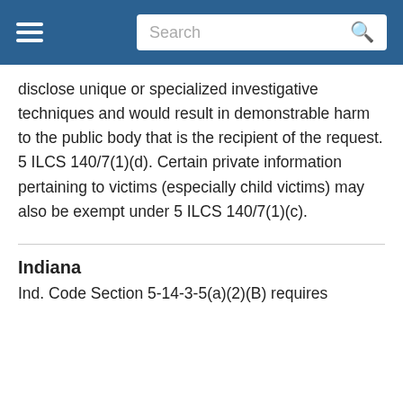Search
disclose unique or specialized investigative techniques and would result in demonstrable harm to the public body that is the recipient of the request. 5 ILCS 140/7(1)(d). Certain private information pertaining to victims (especially child victims) may also be exempt under 5 ILCS 140/7(1)(c).
Indiana
Ind. Code Section 5-14-3-5(a)(2)(B) requires...